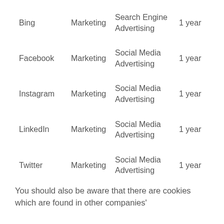| Bing | Marketing | Search Engine Advertising | 1 year |
| Facebook | Marketing | Social Media Advertising | 1 year |
| Instagram | Marketing | Social Media Advertising | 1 year |
| LinkedIn | Marketing | Social Media Advertising | 1 year |
| Twitter | Marketing | Social Media Advertising | 1 year |
You should also be aware that there are cookies which are found in other companies'